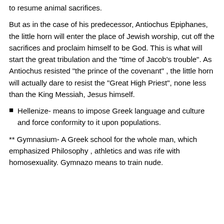to resume animal sacrifices.
But as in the case of his predecessor, Antiochus Epiphanes, the little horn will enter the place of Jewish worship, cut off the sacrifices and proclaim himself to be God. This is what will start the great tribulation and the “time of Jacob’s trouble”. As Antiochus resisted “the prince of the covenant” , the little horn will actually dare to resist the “Great High Priest”, none less than the King Messiah, Jesus himself.
Hellenize- means to impose Greek language and culture and force conformity to it upon populations.
** Gymnasium- A Greek school for the whole man, which emphasized Philosophy , athletics and was rife with homosexuality. Gymnazo means to train nude.